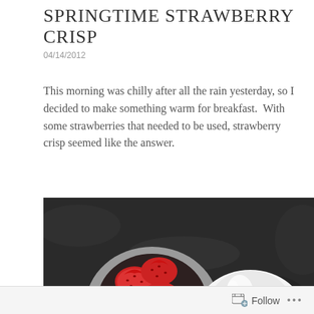SPRINGTIME STRAWBERRY CRISP
04/14/2012
This morning was chilly after all the rain yesterday, so I decided to make something warm for breakfast.  With some strawberries that needed to be used, strawberry crisp seemed like the answer.
[Figure (photo): A gray measuring cup filled with chopped fresh strawberries beside a white ceramic ramekin, both sitting on a dark granite countertop.]
Follow ...